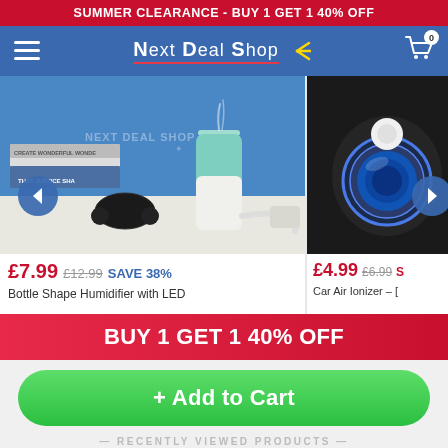SUMMER CLEARANCE - BUY 1 GET 1 40% OFF
[Figure (screenshot): Next Deal Shop navigation bar with hamburger menu, logo, and cart icon showing 0 items]
[Figure (photo): Bottle shape humidifier with LED, teal/white, on a desk with books and headphones, Next Deal Shop watermark]
[Figure (photo): Car Air Ionizer product partially visible on right side]
£7.99 £12.99 SAVE 38%
Bottle Shape Humidifier with LED
£4.99 £6.99 S
Car Air Ionizer – [truncated]
BUY 1 GET 1 40% OFF
+ Add to Cart
RECENTLY VIEWED PRODUCTS